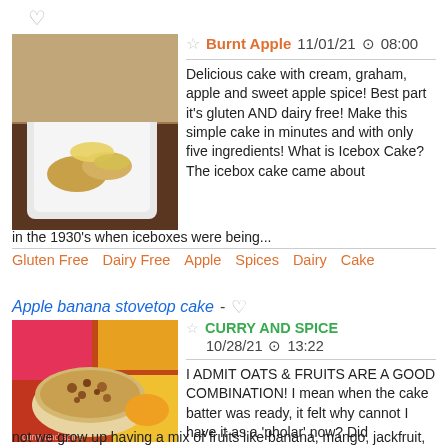[Figure (photo): Heart/favorite icon (unfilled) at top left]
[Figure (photo): Food photo showing a plate with a dessert/cake with sliced banana pieces on a white square plate on a dark wooden tray, with a bowl and glass in the background]
Burnt Apple  11/01/21  08:00
Delicious cake with cream, graham, apple and sweet apple spice! Best part it's gluten AND dairy free! Make this simple cake in minutes and with only five ingredients! What is Icebox Cake? The icebox cake came about in the 1930's when iceboxes were being...
Gluten Free    Dairy Free    Apple    Spices    Dairy    Cake
Apple banana stovetop cake
[Figure (photo): Food photo showing a bowl/pan with a round oat and fruit cake with nuts on top, surrounded by colorful kitchen items and a mango]
CURRY AND SPICE  10/28/21  13:22
I ADMIT OATS & FRUITS ARE A GOOD COMBINATION! I mean when the cake batter was ready, it felt why cannot I have it as a 'pholar' now? Did not we grow up having a mix of fruits like banana, mango, jackfruit, milk or yogurt & grains as part of breakfast and...